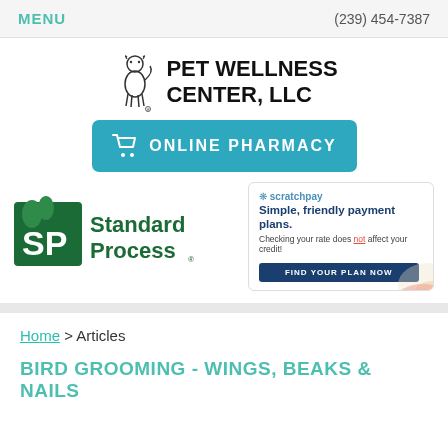MENU   (239) 454-7387
[Figure (logo): Pet Wellness Center LLC logo with dog silhouette icon and bold text]
[Figure (illustration): Online Pharmacy button with cart icon, teal background]
[Figure (logo): Standard Process logo in green]
[Figure (infographic): Scratchpay advertisement: Simple, friendly payment plans. Checking your rate does not affect your credit! FIND YOUR PLAN NOW]
Home > Articles
BIRD GROOMING - WINGS, BEAKS & NAILS